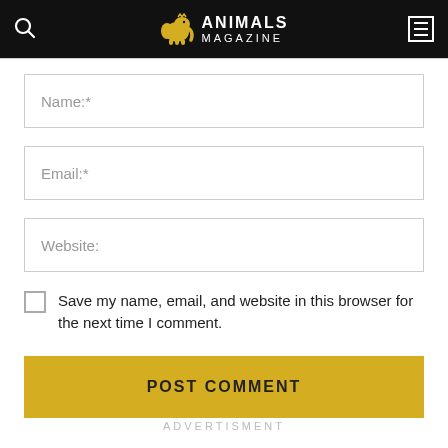ANIMALS MAGAZINE
Name:*
Email:*
Website:
Save my name, email, and website in this browser for the next time I comment.
POST COMMENT
ADVERTISMENT